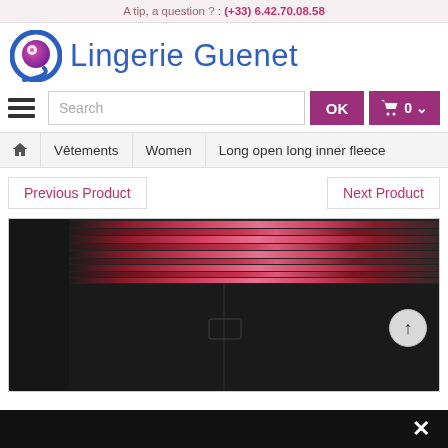A tip, a question ? : (+33) 6.42.70.08.58
[Figure (logo): Lingerie Guenet logo with circular G icon in blue and pink/purple gradient]
Lingerie Guenet
Search  OK  0
🏠  Vêtements  Women  Long open long inner fleece
Previous Product
Next Product
[Figure (photo): Close-up photo of a dark/black garment with pink/red striped waistband elastic, showing the waistband detail at top and dark fabric below with a small pocket detail]